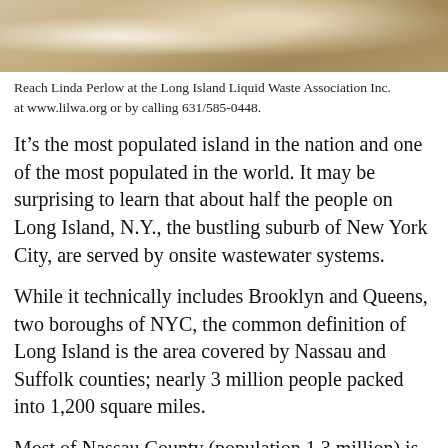[Figure (photo): Partial photo of a person, showing neck and chin area against a light background, cropped at top of page]
Reach Linda Perlow at the Long Island Liquid Waste Association Inc. at www.lilwa.org or by calling 631/585-0448.
It’s the most populated island in the nation and one of the most populated in the world. It may be surprising to learn that about half the people on Long Island, N.Y., the bustling suburb of New York City, are served by onsite wastewater systems.
While it technically includes Brooklyn and Queens, two boroughs of NYC, the common definition of Long Island is the area covered by Nassau and Suffolk counties; nearly 3 million people packed into 1,200 square miles.
Most of Nassau County (population 1.3 million) is sewered, but infrastructure growth didn’t keep up with population growth over the last few decades in